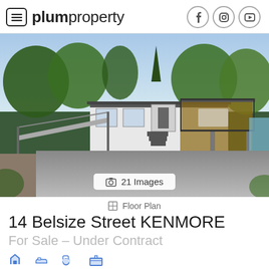plumproperty
[Figure (photo): Aerial/elevated exterior photo of a house at 14 Belsize Street Kenmore, showing a white weatherboard home with a deck, carport, and landscaped surroundings.]
📷 21 Images
⊞ Floor Plan
14 Belsize Street KENMORE
For Sale – Under Contract